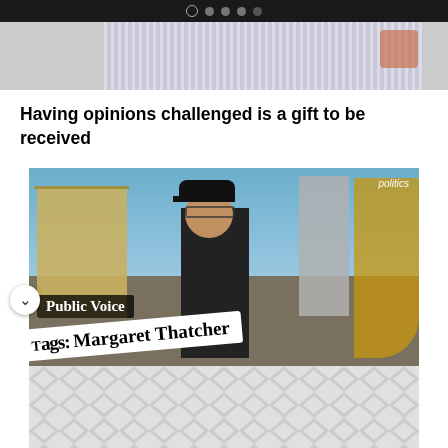[Figure (screenshot): Navigation dots at top of mobile app carousel, one open circle and four filled dots on dark background]
[Figure (photo): Partial photo showing person in striped shirt, cropped]
Having opinions challenged is a gift to be received
[Figure (screenshot): Video thumbnail of a street interview. A man in dark clothes and cap with glasses stands in an urban setting. Overlay text reads 'Public Voice' and 'Tags: Margaret Thatcher'. Small 'politics' label in top right corner.]
[Figure (photo): Gray geometric diamond/triangle pattern, partially visible at bottom of page]